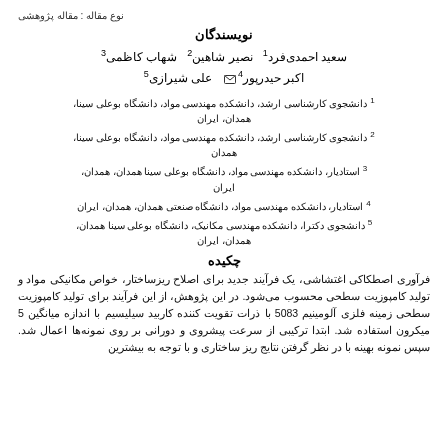نوع مقاله : مقاله پژوهشی
نویسندگان
سعید احمدی‌فرد 1  نصیر شاهین 2  شهاب کاظمی 3
اکبر حیدرپور 4 ✉  علی شیرازی 5
1 دانشجوی کارشناسی ارشد، دانشکده مهندسی مواد، دانشگاه بوعلی سینا، همدان، ایران
2 دانشجوی کارشناسی ارشد، دانشکده مهندسی مواد، دانشگاه بوعلی سینا، همدان
3 استادیار، دانشکده مهندسی مواد، دانشگاه بوعلی سینا همدان، همدان، ایران
4 استادیار، دانشکده مهندسی مواد، دانشگاه صنعتی همدان، همدان، ایران
5 دانشجوی دکترا، دانشکده مهندسی مکانیک، دانشگاه بوعلی سینا همدان، همدان، ایران
چکیده
فرآوری اصطکاکی اغتشاشی، یک فرآیند جدید برای اصلاح ریزساختار، خواص مکانیکی مواد و تولید کامپوزیت سطحی محسوب می‌شود. در این پژوهش، از این فرآیند برای تولید کامپوزیت سطحی زمینه فلزی آلومینیم 5083 با ذرات تقویت کننده کاربید سیلیسیم با اندازه میانگین 5 میکرون استفاده شد. ابتدا ترکیبی از سرعت پیشروی و دورانی بر روی نمونه‌ها اعمال شد. سپس نمونه بهینه با در نظر گرفتن نتایج ریز ساختاری و با توجه به بیشترین